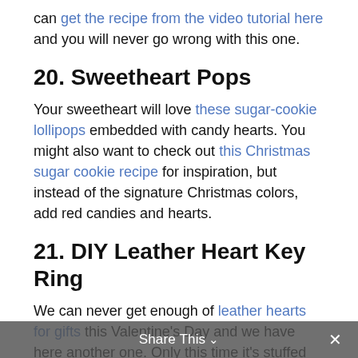can get the recipe from the video tutorial here and you will never go wrong with this one.
20. Sweetheart Pops
Your sweetheart will love these sugar-cookie lollipops embedded with candy hearts. You might also want to check out this Christmas sugar cookie recipe for inspiration, but instead of the signature Christmas colors, add red candies and hearts.
21. DIY Leather Heart Key Ring
We can never get enough of leather hearts for gifts this Valentine's Day and we have here another one. Only this time it's stuffed and a bit of
Share This